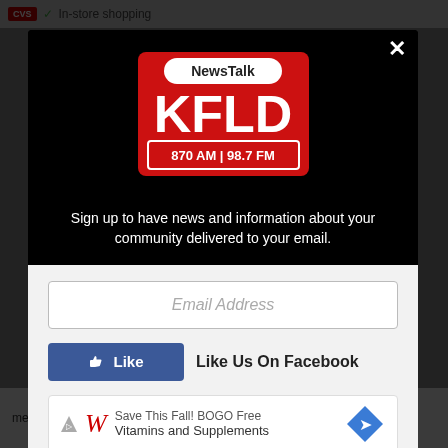[Figure (screenshot): Modal popup overlay on a news website. The modal contains the NewsTalk KFLD 870 AM | 98.7 FM radio station logo on a black background, a tagline about signing up for news, an email address input field, a Facebook Like button, and a Walgreens advertisement banner at the bottom.]
Sign up to have news and information about your community delivered to your email.
Email Address
Like Us On Facebook
Save This Fall! BOGO Free Vitamins and Supplements
medica... ty